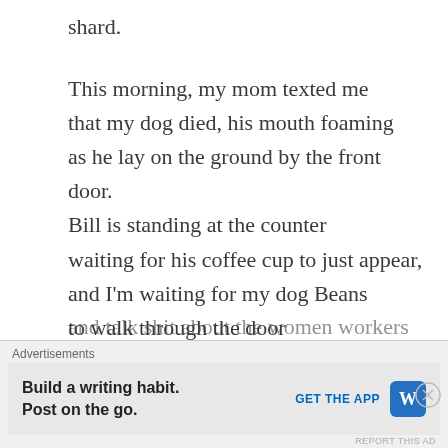shard.

This morning, my mom texted me
that my dog died, his mouth foaming
as he lay on the ground by the front door.
Bill is standing at the counter
waiting for his coffee cup to just appear,
and I'm waiting for my dog Beans
to walk through the door
and lie down at my feet.
But we don't all get what we want, Bill,
except you get to cut ahead of everyone in line
and get two free refills
and talk shit about the women workers
Advertisements
Build a writing habit.
Post on the go.
GET THE APP